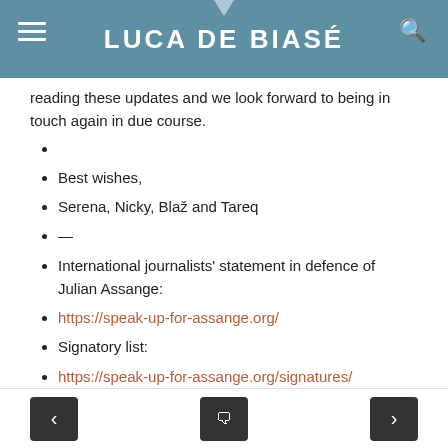LUCA DE BIASÉ
reading these updates and we look forward to being in touch again in due course.
Best wishes,
Serena, Nicky, Blaž and Tareq
—
International journalists' statement in defence of Julian Assange:
https://speak-up-for-assange.org/
Signatory list:
https://speak-up-for-assange.org/signatures/
Facebook group:
< ◎ >